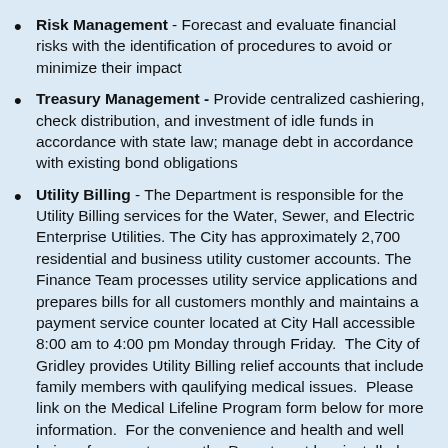Risk Management - Forecast and evaluate financial risks with the identification of procedures to avoid or minimize their impact
Treasury Management - Provide centralized cashiering, check distribution, and investment of idle funds in accordance with state law; manage debt in accordance with existing bond obligations
Utility Billing - The Department is responsible for the Utility Billing services for the Water, Sewer, and Electric Enterprise Utilities. The City has approximately 2,700 residential and business utility customer accounts. The Finance Team processes utility service applications and prepares bills for all customers monthly and maintains a payment service counter located at City Hall accessible 8:00 am to 4:00 pm Monday through Friday. The City of Gridley provides Utility Billing relief accounts that include family members with qaulifying medical issues. Please link on the Medical Lifeline Program form below for more information. For the convenience and health and well being of our customers, the Department has installed a ...